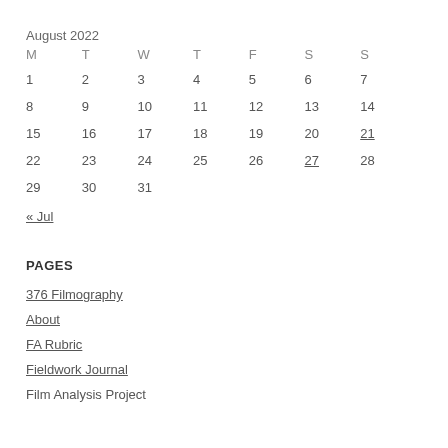August 2022
| M | T | W | T | F | S | S |
| --- | --- | --- | --- | --- | --- | --- |
| 1 | 2 | 3 | 4 | 5 | 6 | 7 |
| 8 | 9 | 10 | 11 | 12 | 13 | 14 |
| 15 | 16 | 17 | 18 | 19 | 20 | 21 |
| 22 | 23 | 24 | 25 | 26 | 27 | 28 |
| 29 | 30 | 31 |  |  |  |  |
« Jul
PAGES
376 Filmography
About
FA Rubric
Fieldwork Journal
Film Analysis Project